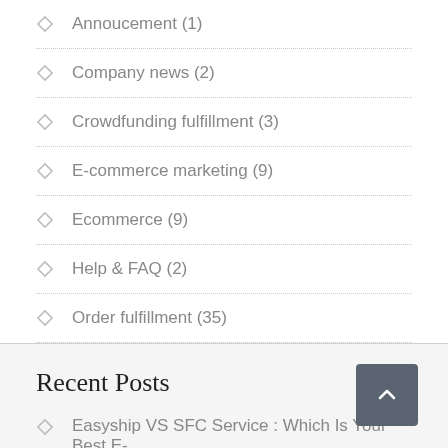Annoucement (1)
Company news (2)
Crowdfunding fulfillment (3)
E-commerce marketing (9)
Ecommerce (9)
Help & FAQ (2)
Order fulfillment (35)
Recent Posts
Easyship VS SFC Service : Which Is Your Best E-